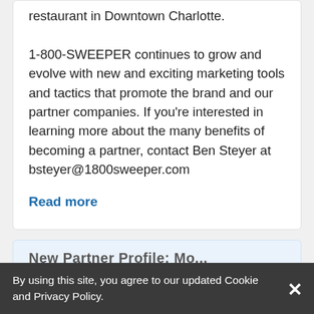restaurant in Downtown Charlotte.

1-800-SWEEPER continues to grow and evolve with new and exciting marketing tools and tactics that promote the brand and our partner companies. If you're interested in learning more about the many benefits of becoming a partner, contact Ben Steyer at bsteyer@1800sweeper.com
Read more
By using this site, you agree to our updated Cookie and Privacy Policy.